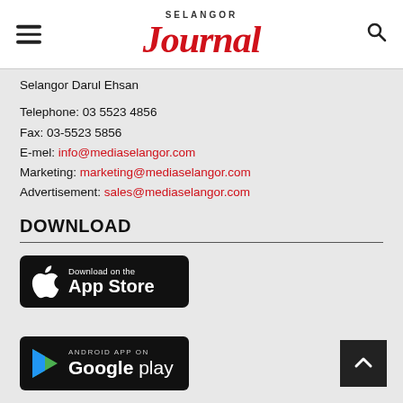SELANGOR JOURNAL
Selangor Darul Ehsan
Telephone: 03 5523 4856
Fax: 03-5523 5856
E-mel: info@mediaselangor.com
Marketing: marketing@mediaselangor.com
Advertisement: sales@mediaselangor.com
DOWNLOAD
[Figure (other): Download on the App Store badge (black)]
[Figure (other): Android App on Google Play badge (black)]